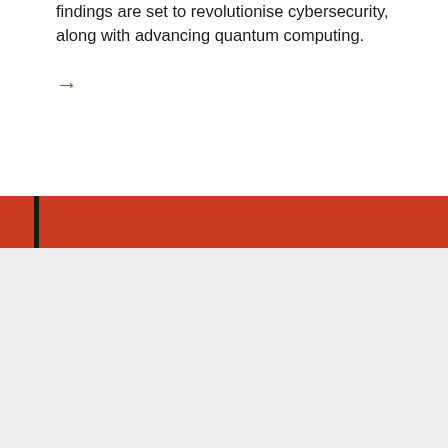findings are set to revolutionise cybersecurity, along with advancing quantum computing.
[Figure (other): Red right-arrow icon used as a navigation or read-more link]
[Figure (other): Red horizontal banner bar with a dark vertical stripe on the left side]
We use cookies to improve your experience on our site and to show you personalised content. For more information about how we use cookies, please read our Privacy Statement.
[Figure (other): OK button with white top portion and red bottom portion inside a rounded rectangle border]